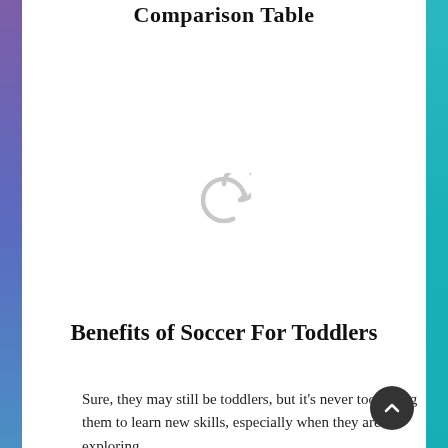Comparison Table
[Figure (other): Loading spinner icon — a circular arrow in light gray indicating content is loading]
Benefits of Soccer For Toddlers
Sure, they may still be toddlers, but it's never too young them to learn new skills, especially when they are exploring